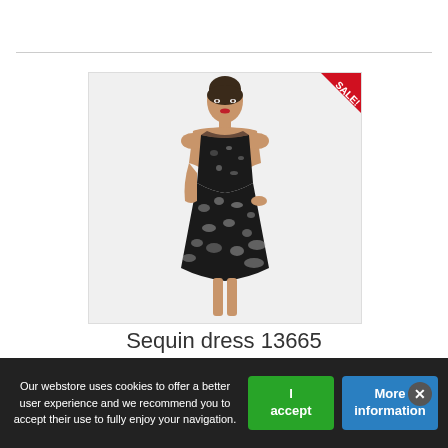[Figure (photo): A woman wearing a black sequin short dress with a red SALE! ribbon badge in the top-right corner of the product image frame.]
Sequin dress 13665
Our webstore uses cookies to offer a better user experience and we recommend you to accept their use to fully enjoy your navigation.